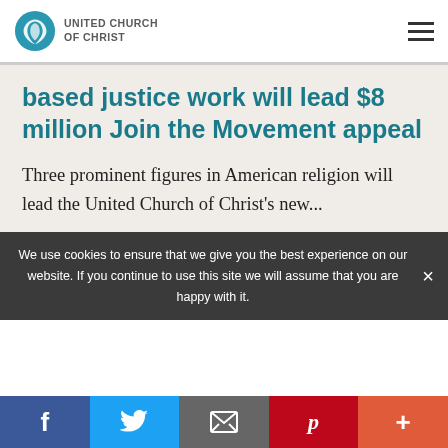UNITED CHURCH OF CHRIST
based justice work will lead $8 million Join the Movement appeal
Three prominent figures in American religion will lead the United Church of Christ's new...
We use cookies to ensure that we give you the best experience on our website. If you continue to use this site we will assume that you are happy with it.
Social share bar: Facebook, Twitter, Email, Pinterest, More